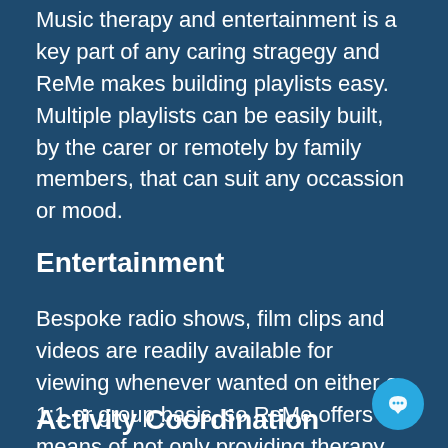Music therapy and entertainment is a key part of any caring stragegy and ReMe makes building playlists easy. Multiple playlists can be easily built, by the carer or remotely by family members, that can suit any occassion or mood.
Entertainment
Bespoke radio shows, film clips and videos are readily available for viewing whenever wanted on either a 1:1 or group basis, so ReMe offers a means of not only providing therapy but also bespoke and highly varied entertainment.
Activity Coordination